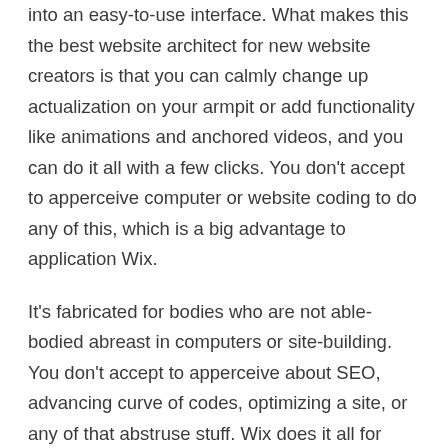into an easy-to-use interface. What makes this the best website architect for new website creators is that you can calmly change up actualization on your armpit or add functionality like animations and anchored videos, and you can do it all with a few clicks. You don't accept to apperceive computer or website coding to do any of this, which is a big advantage to application Wix.
It's fabricated for bodies who are not able-bodied abreast in computers or site-building. You don't accept to apperceive about SEO, advancing curve of codes, optimizing a site, or any of that abstruse stuff. Wix does it all for you, advising you about things that may charge to change or be upgraded to advance the site. It automatically catches a lot of the problems that new website users will run into and is able to action a band-aid for you.
Wix is ideal as a website architect for bodies who appetite to accomplish their website their own way but don't accept any website architecture experience. If you feel afflicted by added website creators, you can calmly do the creations with ease.